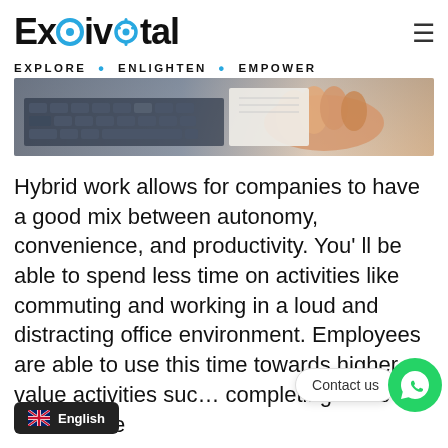Expivotal
EXPLORE • ENLIGHTEN • EMPOWER
Business
[Figure (photo): Laptop keyboard with a hand, blurred background, hero image for article]
Hybrid work allows for companies to have a good mix between autonomy, convenience, and productivity. You'll be able to spend less time on activities like commuting and working in a loud and distracting office environment. Employees are able to use this time towards higher-value activities such as completing tasks at home more
Contact us
English